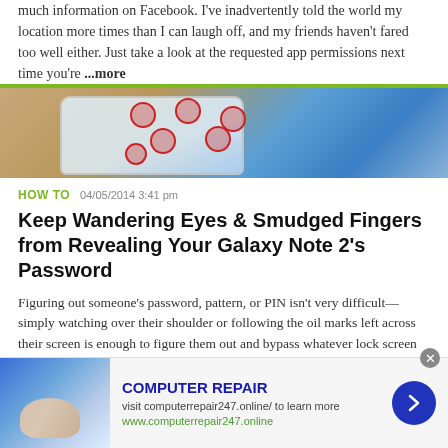much information on Facebook. I've inadvertently told the world my location more times than I can laugh off, and my friends haven't fared too well either. Just take a look at the requested app permissions next time you're ...more
[Figure (photo): A smartphone with a pattern lock screen showing red circular markers on its display, lying on a wooden surface.]
HOW TO   04/05/2014 3:41 pm
Keep Wandering Eyes & Smudged Fingers from Revealing Your Galaxy Note 2's Password
Figuring out someone's password, pattern, or PIN isn't very difficult—simply watching over their shoulder or following the oil marks left across their screen is enough to figure them out and bypass whatever lock screen security they have. Sure, you can enter your code in fast ...more
COMPUTER REPAIR
visit computerrepair247.online/ to learn more
www.computerrepair247.online